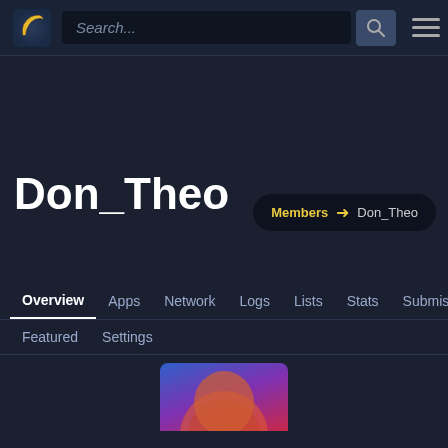[Figure (screenshot): Website navigation bar with banana logo, search box, and hamburger menu]
Don_Theo
Members → Don_Theo
Overview  Apps  Network  Logs  Lists  Stats  Submissions
Featured  Settings
[Figure (illustration): Partial profile image with blue and red/pink colors at bottom of page]